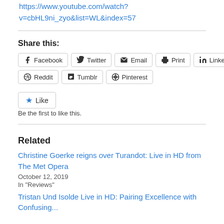https://www.youtube.com/watch?v=cbHL9ni_zyo&list=WL&index=57
Share this:
Facebook Twitter Email Print LinkedIn Reddit Tumblr Pinterest
Like
Be the first to like this.
Related
Christine Goerke reigns over Turandot: Live in HD from The Met Opera
October 12, 2019
In "Reviews"
Tristan Und Isolde Live in HD: Pairing Excellence with Confusing...